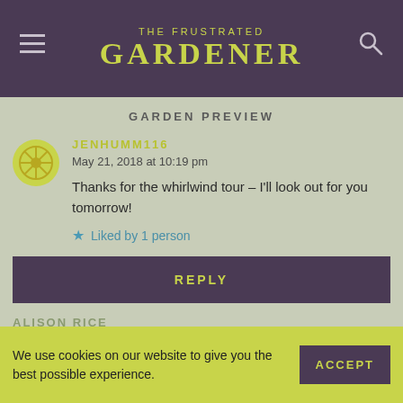THE FRUSTRATED GARDENER
GARDEN PREVIEW
JENHUMM116
May 21, 2018 at 10:19 pm

Thanks for the whirlwind tour – I'll look out for you tomorrow!

★ Liked by 1 person
REPLY
ALISON RICE
We use cookies on our website to give you the best possible experience.